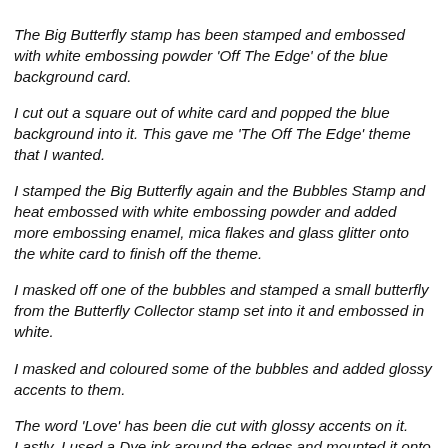The Big Butterfly stamp has been stamped and embossed with white embossing powder 'Off The Edge' of the blue background card.
I cut out a square out of white card and popped the blue background into it. This gave me 'The Off The Edge' theme that I wanted.
I stamped the Big Butterfly again and the Bubbles Stamp and heat embossed with white embossing powder and added more embossing enamel, mica flakes and glass glitter onto the white card to finish off the theme.
I masked off one of the bubbles and stamped a small butterfly from the Butterfly Collector stamp set into it and embossed in white.
I masked and coloured some of the bubbles and added glossy accents to them.
The word 'Love' has been die cut with glossy accents on it. Lastly, I used a Dye ink around the edges and mounted it onto white card.

I had fun, tried new techniques to me and now have lots of 'trial' (mistakes) backgrounds to use at a later date!
Thank you once again for giving me this opportunity and